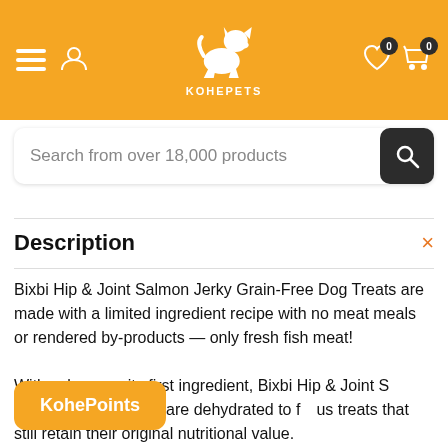[Figure (logo): KohePets website header with orange background, hamburger menu, user icon, dog logo, KOHEPETS brand name, heart icon with 0 badge, cart icon with 0 badge]
Search from over 18,000 products
Description
Bixbi Hip & Joint Salmon Jerky Grain-Free Dog Treats are made with a limited ingredient recipe with no meat meals or rendered by-products — only fresh fish meat!

With salmon as its first ingredient, Bixbi Hip & Joint Salmon Jerky Grain-Free Dog Treats are dehydrated to form delicious treats that still retain their original nutritional value.
KohePoints